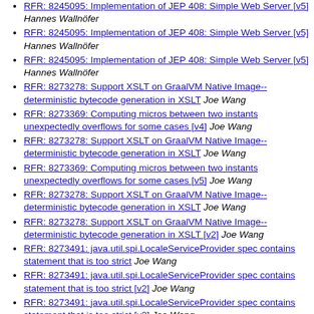RFR: 8245095: Implementation of JEP 408: Simple Web Server [v5]  Hannes Wallnöfer
RFR: 8245095: Implementation of JEP 408: Simple Web Server [v5]  Hannes Wallnöfer
RFR: 8245095: Implementation of JEP 408: Simple Web Server [v5]  Hannes Wallnöfer
RFR: 8273278: Support XSLT on GraalVM Native Image--deterministic bytecode generation in XSLT  Joe Wang
RFR: 8273369: Computing micros between two instants unexpectedly overflows for some cases [v4]  Joe Wang
RFR: 8273278: Support XSLT on GraalVM Native Image--deterministic bytecode generation in XSLT  Joe Wang
RFR: 8273369: Computing micros between two instants unexpectedly overflows for some cases [v5]  Joe Wang
RFR: 8273278: Support XSLT on GraalVM Native Image--deterministic bytecode generation in XSLT  Joe Wang
RFR: 8273278: Support XSLT on GraalVM Native Image--deterministic bytecode generation in XSLT [v2]  Joe Wang
RFR: 8273491: java.util.spi.LocaleServiceProvider spec contains statement that is too strict  Joe Wang
RFR: 8273491: java.util.spi.LocaleServiceProvider spec contains statement that is too strict [v2]  Joe Wang
RFR: 8273491: java.util.spi.LocaleServiceProvider spec contains statement that is too strict [v2]  Joe Wang
RFR: 8273187: jtreg tests fail with missing markerName (partial)